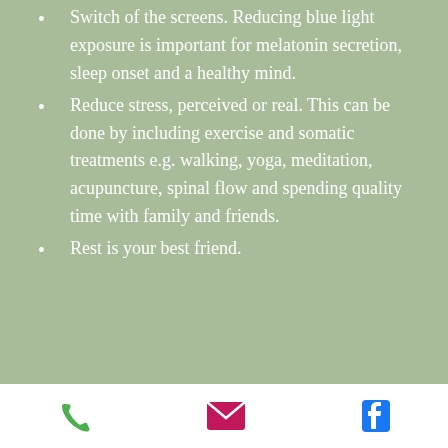Switch of the screens. Reducing blue light exposure is important for melatonin secretion, sleep onset and a healthy mind.
Reduce stress, perceived or real. This can be done by including exercise and somatic treatments e.g. walking, yoga, meditation, acupuncture, spinal flow and spending quality time with family and friends.
Rest is your best friend.
[Figure (infographic): Footer bar with three icons: green phone icon, pink/red email envelope icon, and blue Facebook icon]